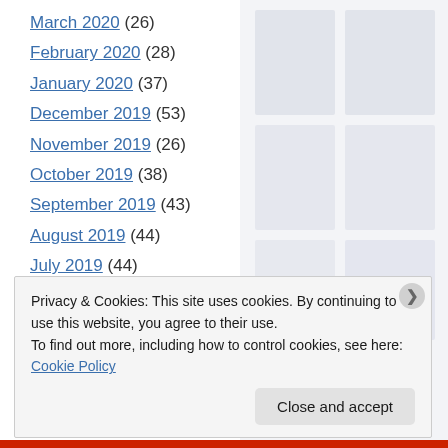March 2020 (26)
February 2020 (28)
January 2020 (37)
December 2019 (53)
November 2019 (26)
October 2019 (38)
September 2019 (43)
August 2019 (44)
July 2019 (44)
June 2019 (41)
May 2019 (27)
April 2019 (29)
Privacy & Cookies: This site uses cookies. By continuing to use this website, you agree to their use. To find out more, including how to control cookies, see here: Cookie Policy
Close and accept